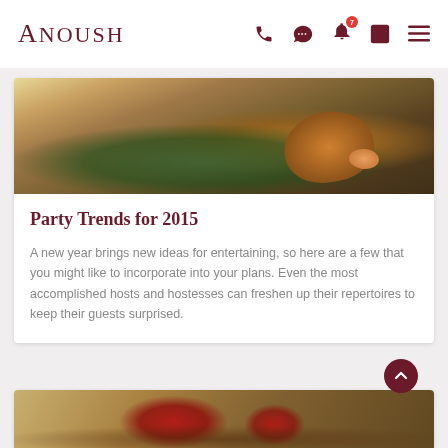Anoush
[Figure (photo): Photo of plated food dish with fried item on green sauce]
Party Trends for 2015
A new year brings new ideas for entertaining, so here are a few that you might like to incorporate into your plans. Even the most accomplished hosts and hostesses can freshen up their repertoires to keep their guests surprised.
[Figure (photo): Partial photo of decorative party scene with large number 16 visible]